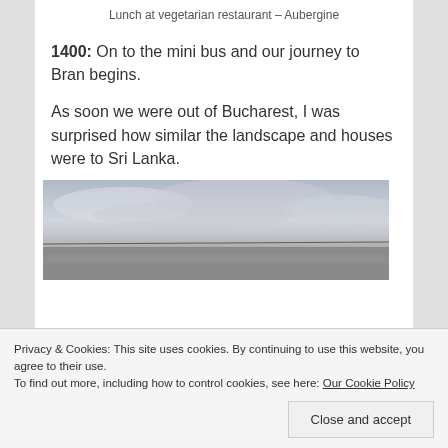Lunch at vegetarian restaurant – Aubergine
1400: On to the mini bus and our journey to Bran begins.
As soon we were out of Bucharest, I was surprised how similar the landscape and houses were to Sri Lanka.
[Figure (photo): A wide landscape photo showing a flat horizon with overcast grey sky and power lines crossing the scene]
Privacy & Cookies: This site uses cookies. By continuing to use this website, you agree to their use.
To find out more, including how to control cookies, see here: Our Cookie Policy